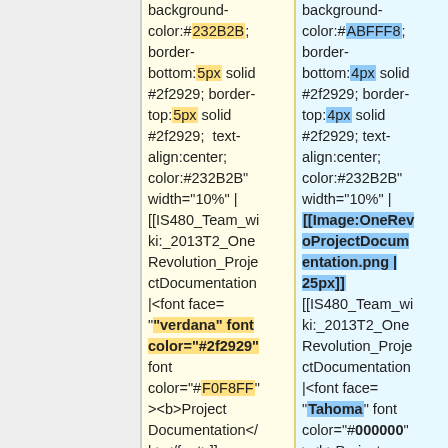background-color:#232B2B; border-bottom:5px solid #2f2929; border-top:5px solid #2f2929; text-align:center; color:#232B2B" width="10%" | [[IS480_Team_wiki:_2013T2_One Revolution_ProjectDocumentation|<font face="verdana" font color="#2f2929" font color="#F0F8FF"><b>Project Documentation</b></font>]]
background-color:#ABFFF8; border-bottom:4px solid #2f2929; border-top:4px solid #2f2929; text-align:center; color:#232B2B" width="10%" | [[Image:OneRevoProjectDocumentation.png | 25px]] [[IS480_Team_wiki:_2013T2_One Revolution_ProjectDocumentation|<font face="Tahoma" font color="#000000"><b>Project Documentation</b></font>]]